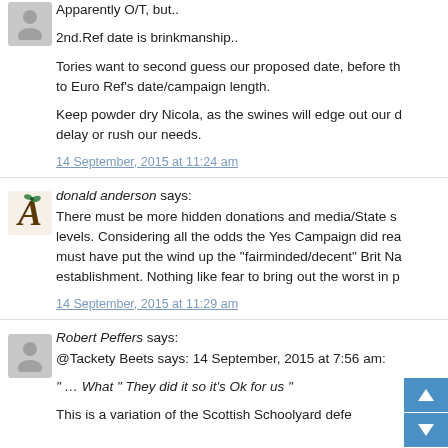Apparently O/T, but..

2nd.Ref date is brinkmanship..

Tories want to second guess our proposed date, before t... to Euro Ref's date/campaign length.

Keep powder dry Nicola, as the swines will edge out our d... delay or rush our needs.
14 September, 2015 at 11:24 am
[Figure (illustration): Decorative letter A avatar for donald anderson]
donald anderson says:

There must be more hidden donations and media/State s... levels. Considering all the odds the Yes Campaign did rea... must have put the wind up the "fairminded/decent" Brit Na... establishment. Nothing like fear to bring out the worst in p...
14 September, 2015 at 11:29 am
[Figure (illustration): Generic grey avatar silhouette for Robert Peffers]
Robert Peffers says:

@Tackety Beets says: 14 September, 2015 at 7:56 am:

" … What " They did it so it's Ok for us "

This is a variation of the Scottish Schoolyard defe...